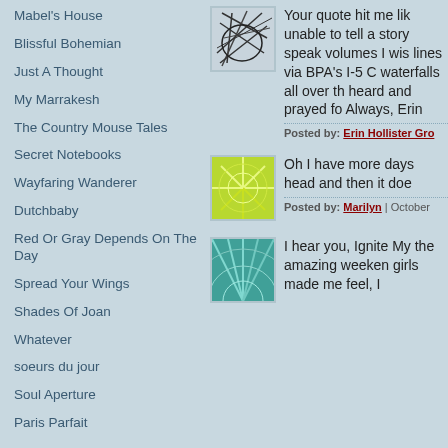Mabel's House
Blissful Bohemian
Just A Thought
My Marrakesh
The Country Mouse Tales
Secret Notebooks
Wayfaring Wanderer
Dutchbaby
Red Or Gray Depends On The Day
Spread Your Wings
Shades Of Joan
Whatever
soeurs du jour
Soul Aperture
Paris Parfait
Your quote hit me like unable to tell a story speak volumes I wis lines via BPA's I-5 C waterfalls all over th heard and prayed fo Always, Erin
Posted by: Erin Hollister Gro
[Figure (illustration): Small square avatar image with dark lines/scribbles on light blue-gray background]
Oh I have more days head and then it doe
Posted by: Marilyn | October
[Figure (illustration): Small square avatar image with yellow-green radial/sunburst pattern on light background]
I hear you, Ignite My the amazing weeken girls made me feel, I
[Figure (illustration): Small square avatar image with teal/turquoise radial pattern]